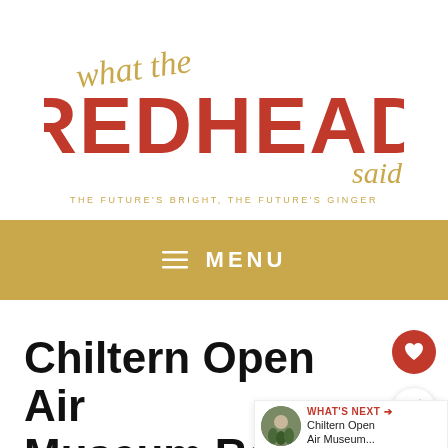[Figure (logo): What The Redhead Said blog logo — cursive 'what the' above large bold 'REDHEAD' in orange-red, with cursive 'said' trailing. Tagline: THE FUTURE'S BRIGHT, THE FUTURE'S GINGER. Scattered dot decorations.]
≡ MENU
Chiltern Open Air Museum Review
July 8, 2016